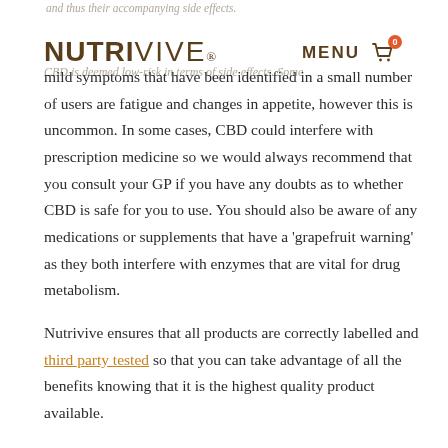and thus their accompanying side effects.
[Figure (logo): NUTRIVIVE logo with registered trademark symbol, MENU navigation text, and shopping cart icon with badge showing 0]
CBD is deemed low-risk in terms of side effects. Some mild symptoms that have been identified in a small number of users are fatigue and changes in appetite, however this is uncommon. In some cases, CBD could interfere with prescription medicine so we would always recommend that you consult your GP if you have any doubts as to whether CBD is safe for you to use. You should also be aware of any medications or supplements that have a ‘grapefruit warning’ as they both interfere with enzymes that are vital for drug metabolism.
Nutrivive ensures that all products are correctly labelled and third party tested so that you can take advantage of all the benefits knowing that it is the highest quality product available.